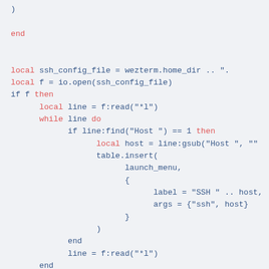Lua code snippet showing SSH config file parsing with wezterm, including local variable assignments, file reading loop, host matching, and table insertion for launch menu entries.